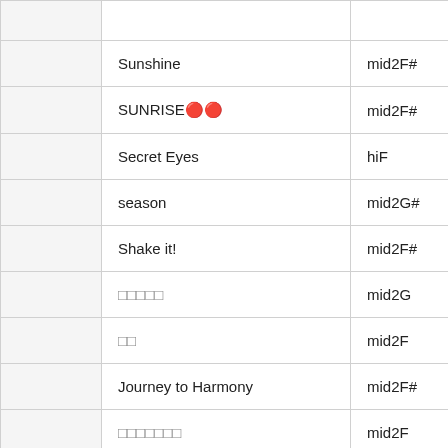|  | Song Title | Key |  |
| --- | --- | --- | --- |
|  | Sunshine | mid2F# |  |
|  | SUNRISE🎵🎵 | mid2F# |  |
|  | Secret Eyes | hiF |  |
|  | season | mid2G# |  |
|  | Shake it! | mid2F# |  |
|  | 🎵🎵🎵🎵🎵 | mid2G |  |
|  | 🎵🎵 | mid2F |  |
|  | Journey to Harmony | mid2F# |  |
|  | 🎵🎵🎵🎵🎵🎵🎵 | mid2F |  |
|  | Japonesque | hiA# |  |
|  | JAM | mid2G |  |